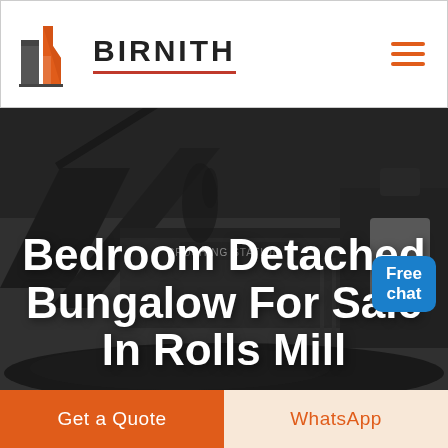[Figure (logo): Birnith company logo with orange and grey building/column icon and brand name BIRNITH with red underline, hamburger menu icon on right]
[Figure (photo): Industrial crushing station machinery with coal/rocks, dark moody photo background with overlay]
Bedroom Detached Bungalow For Sale In Rolls Mill
Free chat
Get a Quote
WhatsApp